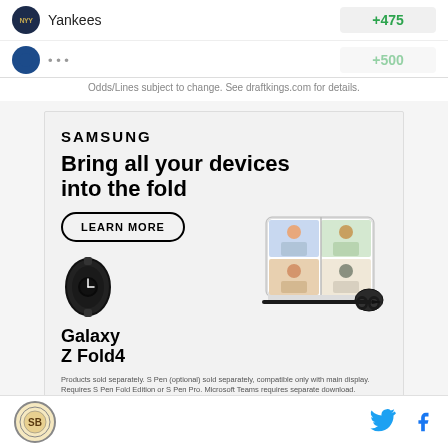| Team | Odds |
| --- | --- |
| NYY Yankees | +475 |
| ... | +500 |
Odds/Lines subject to change. See draftkings.com for details.
[Figure (screenshot): Samsung advertisement: 'Bring all your devices into the fold' featuring Galaxy Z Fold4, with LEARN MORE button and product image showing smartphone, watch, and earbuds]
Footer with site logo and social media icons (Twitter, Facebook)